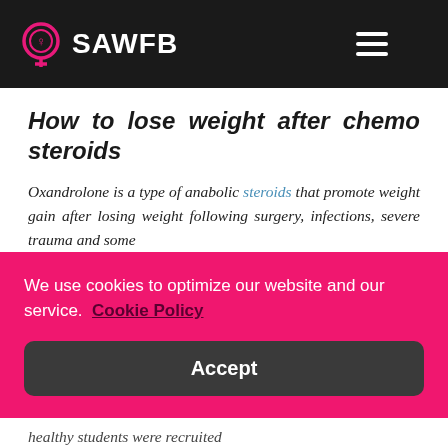SAWFB
How to lose weight after chemo steroids
Oxandrolone is a type of anabolic steroids that promote weight gain after losing weight following surgery, infections, severe trauma and some
We use cookies to optimize our website and our service.  Cookie Policy
Accept
healthy students were recruited